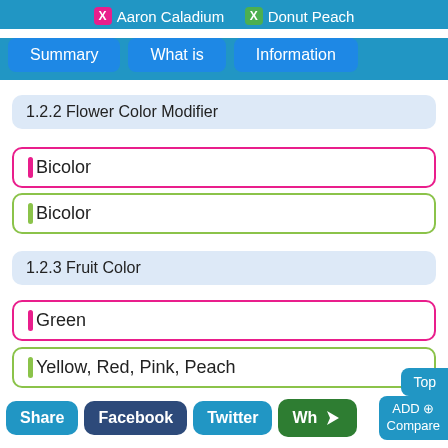X Aaron Caladium  X Donut Peach
Summary | What is | Information
1.2.2 Flower Color Modifier
Bicolor
Bicolor
1.2.3 Fruit Color
Green
Yellow, Red, Pink, Peach
1.2.4 Leaf Color in Spring
Gray Green
Share  Facebook  Twitter  Wh